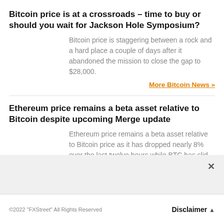Bitcoin price is at a crossroads – time to buy or should you wait for Jackson Hole Symposium?
Bitcoin price is staggering between a rock and a hard place a couple of days after it abandoned the mission to close the gap to $28,000.
More Bitcoin News >>
Ethereum price remains a beta asset relative to Bitcoin despite upcoming Merge update
Ethereum price remains a beta asset relative to Bitcoin price as it has dropped nearly 8% over the last twelve hours while BTC has slid roughly 4%.
More Ethereum News >>
©2022 "FXStreet" All Rights Reserved   Disclaimer ▲